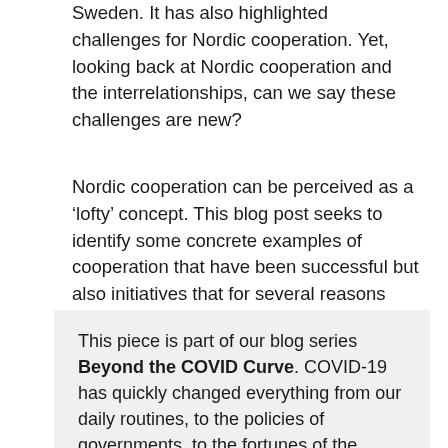Sweden. It has also highlighted challenges for Nordic cooperation. Yet, looking back at Nordic cooperation and the interrelationships, can we say these challenges are new?
Nordic cooperation can be perceived as a 'lofty' concept. This blog post seeks to identify some concrete examples of cooperation that have been successful but also initiatives that for several reasons were not realized.
This piece is part of our blog series Beyond the COVID Curve. COVID-19 has quickly changed everything from our daily routines, to the policies of governments, to the fortunes of the global economy. How will it continue to shape society and the conditions for peace and conflict globally